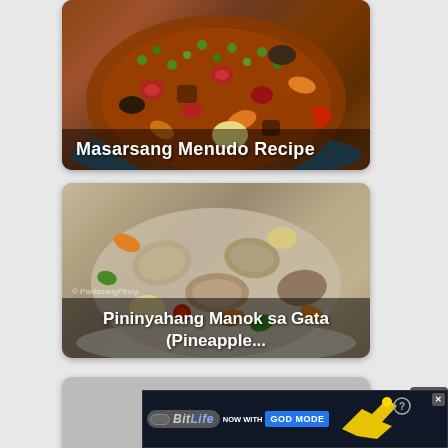[Figure (photo): Masarsang Menudo Recipe - Filipino pork menudo dish with vegetables in brown sauce in a blue pan]
Masarsang Menudo Recipe
[Figure (photo): Pininyahang Manok sa Gata (Pineapple... - Filipino chicken with pineapple in coconut milk with vegetables]
Pininyahang Manok sa Gata (Pineapple...
[Figure (photo): Third recipe card (partially visible)]
[Figure (screenshot): BitLife advertisement - NOW WITH GOD MODE banner ad with close button]